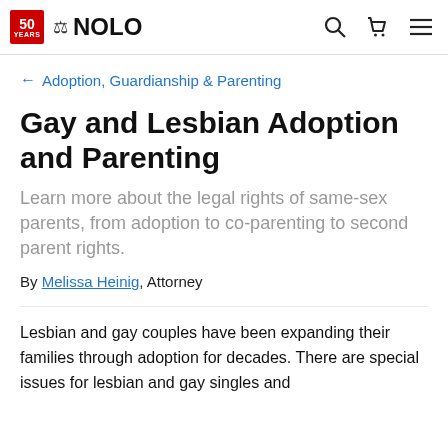NOLO — 50 YEARS
← Adoption, Guardianship & Parenting
Gay and Lesbian Adoption and Parenting
Learn more about the legal rights of same-sex parents, from adoption to co-parenting to second parent rights.
By Melissa Heinig, Attorney
Lesbian and gay couples have been expanding their families through adoption for decades. There are special issues for lesbian and gay singles and